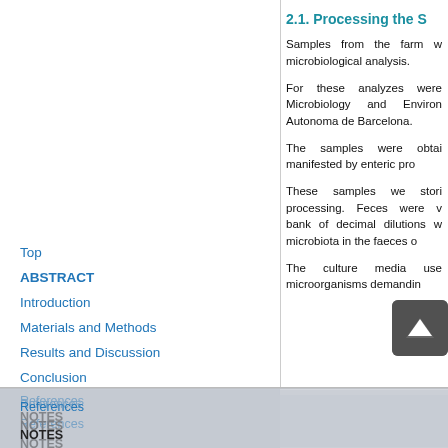2.1. Processing the S
Samples from the farm w microbiological analysis.
For these analyzes were Microbiology and Environ Autonoma de Barcelona.
The samples were obtai manifested by enteric pro
These samples we stori processing. Feces were v bank of decimal dilutions w microbiota in the faeces o
Top
ABSTRACT
Introduction
Materials and Methods
Results and Discussion
Conclusion
References
NOTES
The culture media use microorganisms demandin